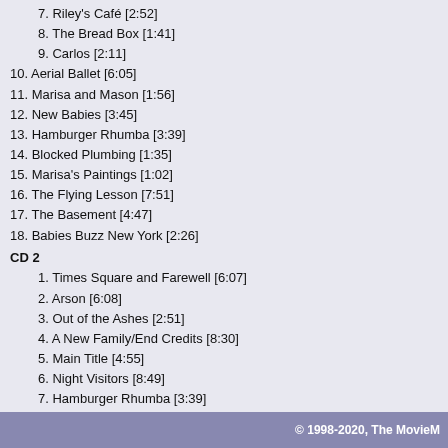7. Riley's Café [2:52]
8. The Bread Box [1:41]
9. Carlos [2:11]
10. Aerial Ballet [6:05]
11. Marisa and Mason [1:56]
12. New Babies [3:45]
13. Hamburger Rhumba [3:39]
14. Blocked Plumbing [1:35]
15. Marisa's Paintings [1:02]
16. The Flying Lesson [7:51]
17. The Basement [4:47]
18. Babies Buzz New York [2:26]
CD 2
1. Times Square and Farewell [6:07]
2. Arson [6:08]
3. Out of the Ashes [2:51]
4. A New Family/End Credits [8:30]
5. Main Title [4:55]
6. Night Visitors [8:49]
7. Hamburger Rhumba [3:39]
8. New Babies [3:45]
9. Cafe Swing [3:32]
10. Times Square and Farewell [6:07]
11. Arson [6:08]
12. A New Family/End Credits [8:30]
© 1998-2020, The MovieM